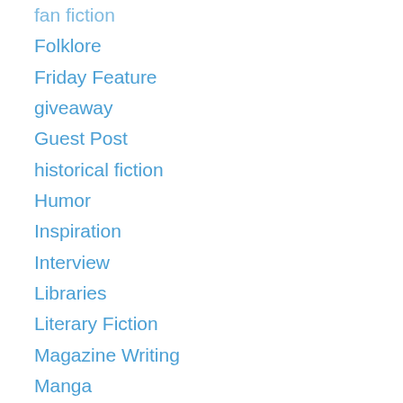fan fiction
Folklore
Friday Feature
giveaway
Guest Post
historical fiction
Humor
Inspiration
Interview
Libraries
Literary Fiction
Magazine Writing
Manga
Marketing
memoir
Middle Grade
Mysteries
NaNoWriMo
Outlines
Outreach